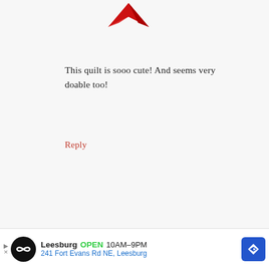[Figure (illustration): Red bird/arrow icon avatar at the top of the page]
This quilt is sooo cute! And seems very doable too!
Reply
[Figure (illustration): Blue and white quilt block pattern avatar for rachel z.]
rachel z. says
APRIL 19, 2019 AT 6:17 AM
Really interesting how this block is
[Figure (other): Advertisement banner: Leesburg OPEN 10AM-9PM, 241 Fort Evans Rd NE, Leesburg]